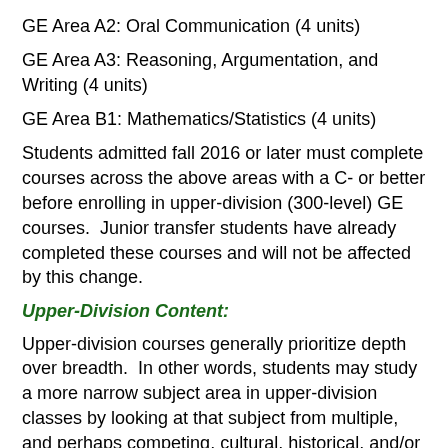GE Area A2: Oral Communication (4 units)
GE Area A3: Reasoning, Argumentation, and Writing (4 units)
GE Area B1: Mathematics/Statistics (4 units)
Students admitted fall 2016 or later must complete courses across the above areas with a C- or better before enrolling in upper-division (300-level) GE courses.  Junior transfer students have already completed these courses and will not be affected by this change.
Upper-Division Content:
Upper-division courses generally prioritize depth over breadth.  In other words, students may study a more narrow subject area in upper-division classes by looking at that subject from multiple, and perhaps competing, cultural, historical, and/or disciplinary vantage points.  For instance, course may study specific historical periods,